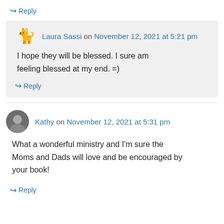↪ Reply
Laura Sassi on November 12, 2021 at 5:21 pm
I hope they will be blessed. I sure am feeling blessed at my end. =)
↪ Reply
Kathy on November 12, 2021 at 5:31 pm
What a wonderful ministry and I'm sure the Moms and Dads will love and be encouraged by your book!
↪ Reply